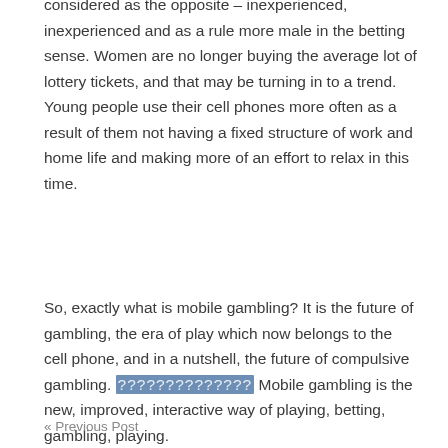considered as the opposite – inexperienced, inexperienced and as a rule more male in the betting sense. Women are no longer buying the average lot of lottery tickets, and that may be turning in to a trend. Young people use their cell phones more often as a result of them not having a fixed structure of work and home life and making more of an effort to relax in this time.
So, exactly what is mobile gambling? It is the future of gambling, the era of play which now belongs to the cell phone, and in a nutshell, the future of compulsive gambling. ?????????????? Mobile gambling is the new, improved, interactive way of playing, betting, gambling, playing.
« Previous Post